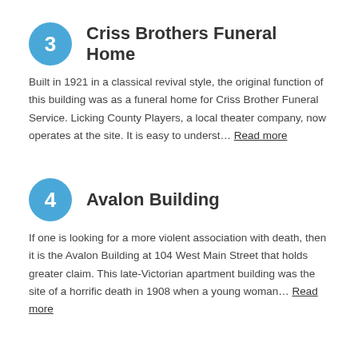3 Criss Brothers Funeral Home
Built in 1921 in a classical revival style, the original function of this building was as a funeral home for Criss Brother Funeral Service.  Licking County Players, a local theater company, now operates at the site.  It is easy to underst… Read more
4 Avalon Building
If one is looking for a more violent association with death, then it is the Avalon Building at 104 West Main Street that holds greater claim. This late-Victorian apartment building was the site of a horrific death in 1908 when a young woman… Read more